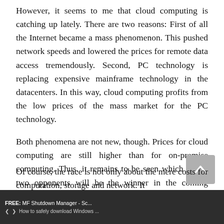However, it seems to me that cloud computing is catching up lately. There are two reasons: First of all the Internet became a mass phenomenon. This pushed network speeds and lowered the prices for remote data access tremendously. Second, PC technology is replacing expensive mainframe technology in the datacenters. In this way, cloud computing profits from the low prices of the mass market for the PC technology.
Both phenomena are not new, though. Prices for cloud computing are still higher than for on-premise computing. Thus, it remains to be seen which of the two opponents will be the winner in the coming decades.
Of course, the race is not only about the mere costs for computation, storage and network. It
FREE: MF Shutdown Manager - Sc...  |  < >  |  How to safely download Windows ...